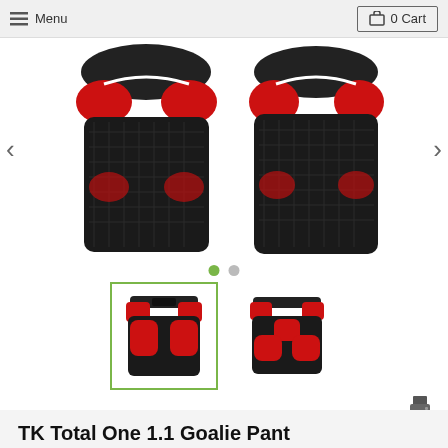Menu   0 Cart
[Figure (photo): Main product image showing two views of black and red padded goalie hockey shorts/pants — front showing two large red thigh pads and hip pads on black fabric, back showing red tailbone and seat pads. Navigation arrows on left and right sides. Two dot indicators below.]
[Figure (photo): Two thumbnail images of the TK Total One 1.1 Goalie Pant. Left thumbnail (selected, green border) shows front view of black shorts with red thigh and hip pads. Right thumbnail shows rear view of same shorts with red seat/tailbone pads.]
TK Total One 1.1 Goalie Pant
Product Code : 278327SMBLTO